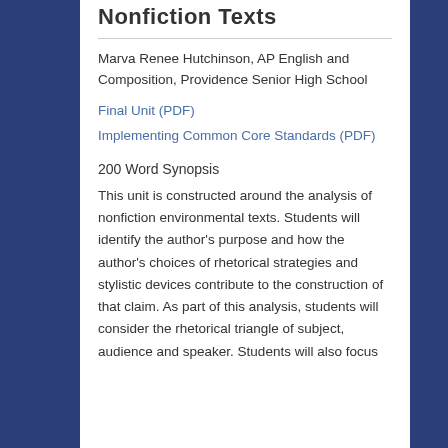Nonfiction Texts
Marva Renee Hutchinson, AP English and Composition, Providence Senior High School
Final Unit (PDF)
Implementing Common Core Standards (PDF)
200 Word Synopsis
This unit is constructed around the analysis of nonfiction environmental texts. Students will identify the author's purpose and how the author's choices of rhetorical strategies and stylistic devices contribute to the construction of that claim. As part of this analysis, students will consider the rhetorical triangle of subject, audience and speaker. Students will also focus